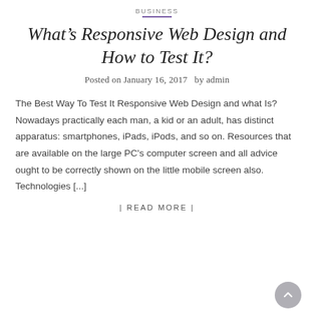BUSINESS
What's Responsive Web Design and How to Test It?
Posted on January 16, 2017  by admin
The Best Way To Test It Responsive Web Design and what Is? Nowadays practically each man, a kid or an adult, has distinct apparatus: smartphones, iPads, iPods, and so on. Resources that are available on the large PC's computer screen and all advice ought to be correctly shown on the little mobile screen also. Technologies [...]
| READ MORE |